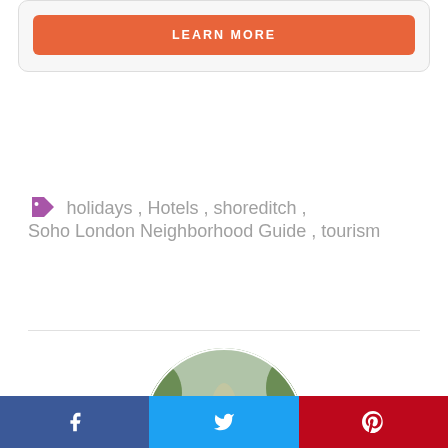LEARN MORE
holidays , Hotels , shoreditch , Soho London Neighborhood Guide , tourism
[Figure (photo): Circular author avatar photo of a smiling man in a light blue shirt standing on a tree-lined path]
[Figure (infographic): Social share bar with Facebook, Twitter, and Pinterest buttons at bottom of page]